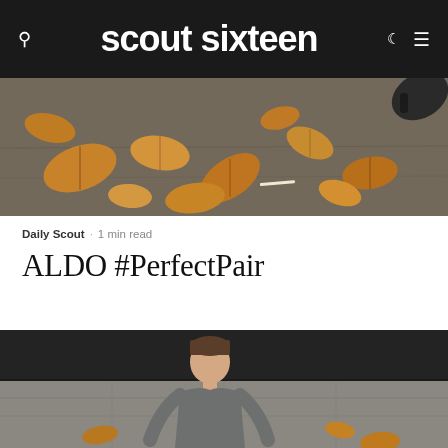scout sixteen
[Figure (photo): Overhead photo of dry autumn leaves scattered on a dark pavement ground with headphones visible in upper right corner]
Daily Scout · 1 min read
ALDO #PerfectPair
[Figure (photo): Young man in grey t-shirt sitting outdoors on pavement with autumn leaves in background near a dark wall]